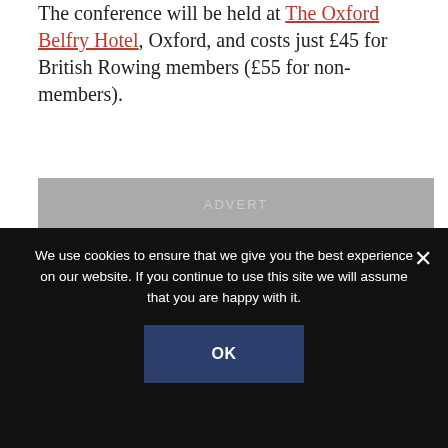The conference will be held at The Oxford Belfry Hotel, Oxford, and costs just £45 for British Rowing members (£55 for non-members).
[Figure (other): Grey advert placeholder bar with text ADVERT]
Share:
[Figure (infographic): Social share buttons: Facebook, Twitter, LinkedIn, Google+, Email]
Latest Stories
We use cookies to ensure that we give you the best experience on our website. If you continue to use this site we will assume that you are happy with it.